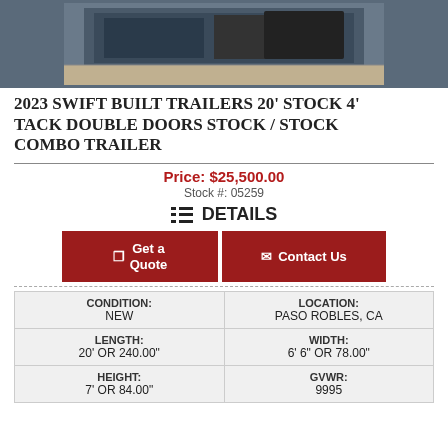[Figure (photo): Partial photo of a dark-colored 2023 Swift Built Trailers stock combo trailer, showing the upper portion of the trailer against an outdoor background.]
2023 SWIFT BUILT TRAILERS 20' STOCK 4' TACK DOUBLE DOORS STOCK / STOCK COMBO TRAILER
Price: $25,500.00
Stock #: 05259
DETAILS
Get a Quote
Contact Us
| CONDITION:
NEW | LOCATION:
PASO ROBLES, CA |
| LENGTH:
20' OR 240.00" | WIDTH:
6' 6" OR 78.00" |
| HEIGHT:
7' OR 84.00" | GVWR:
9995 |